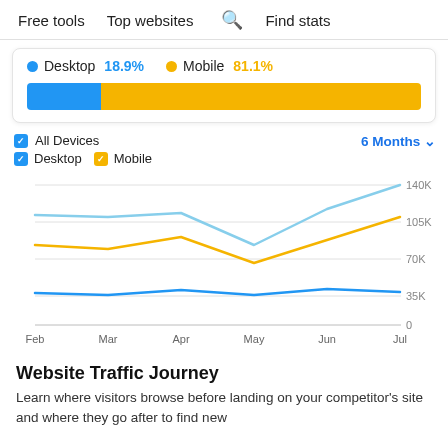Free tools   Top websites   🔍 Find stats
[Figure (infographic): Device share bar: Desktop 18.9% (blue dot, blue bar segment) and Mobile 81.1% (gold dot, gold bar segment) shown as a proportional horizontal bar chart]
[Figure (line-chart): All Devices / Desktop / Mobile — 6 Months]
Website Traffic Journey
Learn where visitors browse before landing on your competitor's site and where they go after to find new